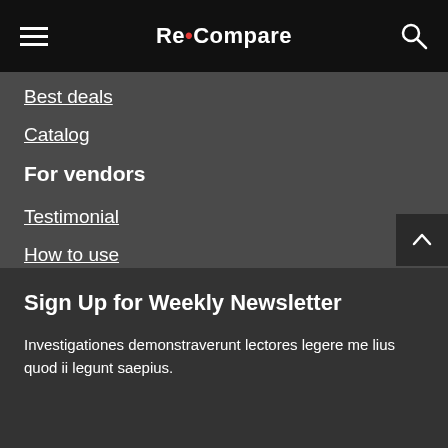Re•Compare
Best deals
Catalog
For vendors
Testimonial
How to use
Donate Us
Catalog
Sign Up for Weekly Newsletter
Investigationes demonstraverunt lectores legere me lius quod ii legunt saepius.